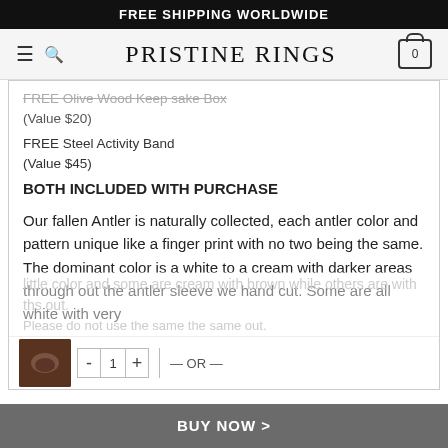FREE SHIPPING WORLDWIDE
PRISTINE RINGS
FREE Olive Wood Keep sake Box
(Value $20)
FREE Steel Activity Band
(Value $45)
BOTH INCLUDED WITH PURCHASE
Our fallen Antler is naturally collected, each antler color and pattern unique like a finger print with no two being the same. The dominant color is a white to a cream with darker areas through out the antler sleeve we hand cut. Some are all white with very little color and some are cream with brown while others are with ths out. Please do not use the same the same out.